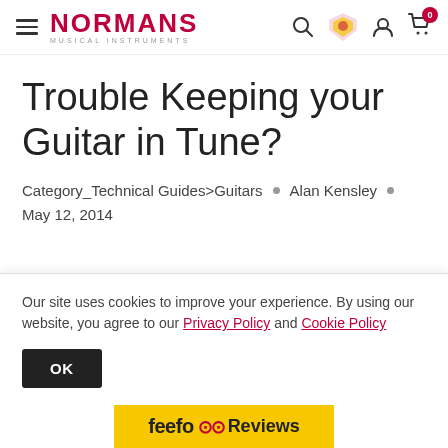NORMANS MUSICAL INSTRUMENTS
Trouble Keeping your Guitar in Tune?
Category_Technical Guides>Guitars • Alan Kensley • May 12, 2014
Our site uses cookies to improve your experience. By using our website, you agree to our Privacy Policy and Cookie Policy
OK
feefo Reviews